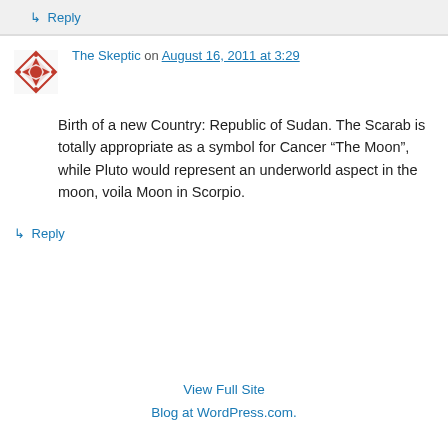↳ Reply
The Skeptic on August 16, 2011 at 3:29
Birth of a new Country: Republic of Sudan. The Scarab is totally appropriate as a symbol for Cancer “The Moon”, while Pluto would represent an underworld aspect in the moon, voila Moon in Scorpio.
↳ Reply
View Full Site
Blog at WordPress.com.